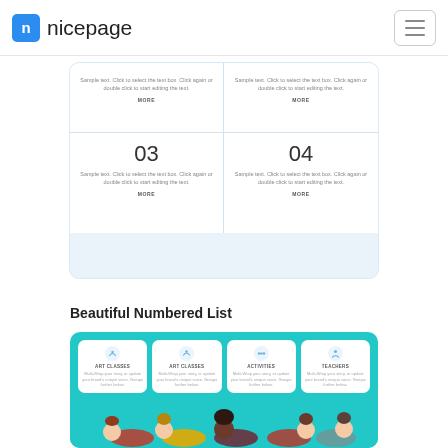nicepage
[Figure (screenshot): Numbered list UI component with cards 03 and 04 visible, light blue background with decorative circles]
Beautiful Numbered List
[Figure (screenshot): Teal card section with four feature cards: Art Classes, Art Classes, Activities, Teachers, with kids photo below]